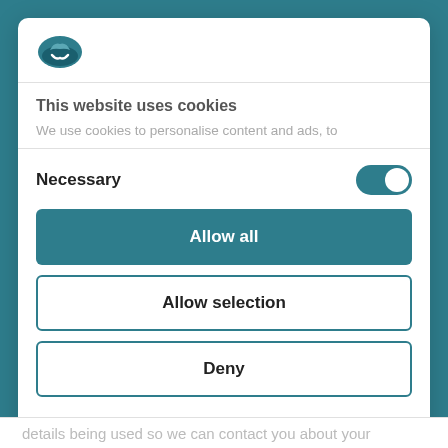[Figure (logo): Cookiebot logo - teal circular icon with a checkmark/cookie shape]
This website uses cookies
We use cookies to personalise content and ads, to
Necessary
[Figure (other): Toggle switch in ON position (teal background, white knob on right)]
Allow all
Allow selection
Deny
Powered by Cookiebot by Usercentrics
details being used so we can contact you about your